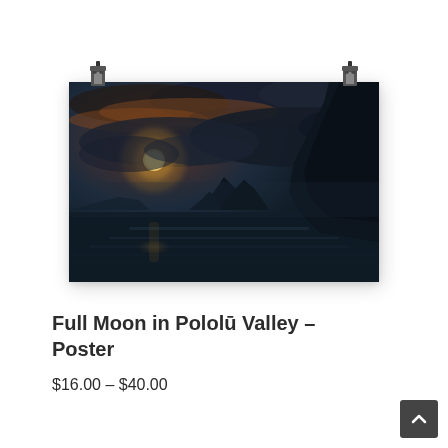[Figure (photo): A framed landscape poster mockup hung by two binder clips. The photo shows a dark, moody coastal night scene with a full moon low on the horizon casting light through clouds, silhouetted sea stacks and cliffs in the background, and a dark blue ocean in the foreground.]
Full Moon in Pololū Valley – Poster
$16.00 – $40.00